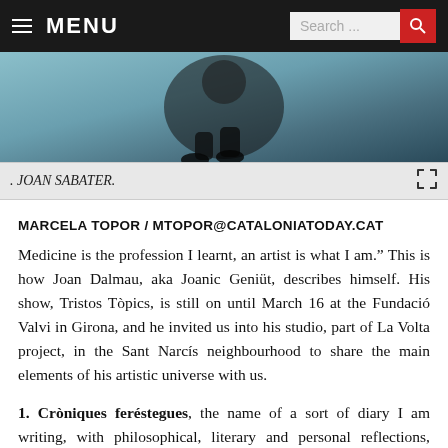MENU | Search...
[Figure (photo): Black and white photo of a person, partial view, artistic composition]
. JOAN SABATER.
MARCELA TOPOR / MTOPOR@CATALONIATODAY.CAT
Medicine is the profession I learnt, an artist is what I am.” This is how Joan Dalmau, aka Joanic Geniüt, describes himself. His show, Tristos Tòpics, is still on until March 16 at the Fundació Valvi in Girona, and he invited us into his studio, part of La Volta project, in the Sant Narcís neighbourhood to share the main elements of his artistic universe with us.
1. Cròniques feréstegues, the name of a sort of diary I am writing, with philosophical, literary and personal reflections, which I upload to my blog (www.feresteq.com). I decided to become one of the items featuring in this sec...